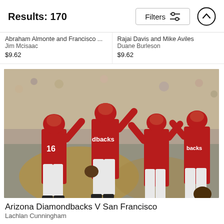Results: 170
Filters
Abraham Almonte and Francisco ...
Jim Mcisaac
$9.62
Rajai Davis and Mike Aviles
Duane Burleson
$9.62
[Figure (photo): Arizona Diamondbacks players in red uniforms giving high-fives on the baseball field, with a crowd in the background]
Arizona Diamondbacks V San Francisco
Lachlan Cunningham